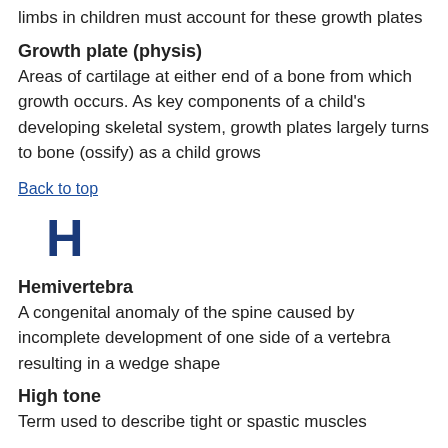limbs in children must account for these growth plates
Growth plate (physis)
Areas of cartilage at either end of a bone from which growth occurs. As key components of a child's developing skeletal system, growth plates largely turns to bone (ossify) as a child grows
Back to top
H
Hemivertebra
A congenital anomaly of the spine caused by incomplete development of one side of a vertebra resulting in a wedge shape
High tone
Term used to describe tight or spastic muscles
Hip impingement